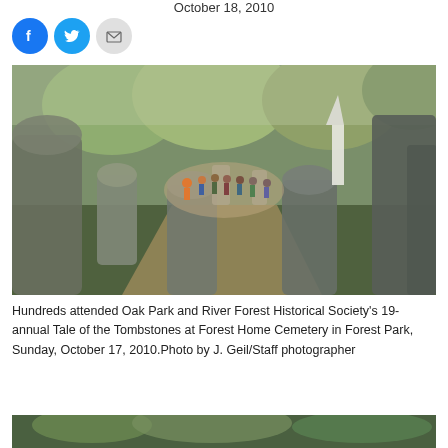October 18, 2010
[Figure (other): Social media share buttons: Facebook (blue circle), Twitter (blue circle), Email (gray circle)]
[Figure (photo): Photograph of a group of people walking through a cemetery path lined with tombstones, with trees in the background showing autumn foliage.]
Hundreds attended Oak Park and River Forest Historical Society's 19-annual Tale of the Tombstones at Forest Home Cemetery in Forest Park, Sunday, October 17, 2010.Photo by J. Geil/Staff photographer
[Figure (photo): Partial view of another cemetery photo at the bottom of the page, showing green foliage.]